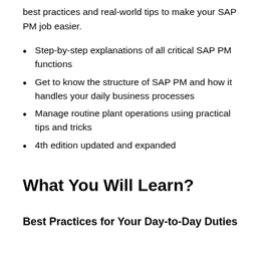best practices and real-world tips to make your SAP PM job easier.
Step-by-step explanations of all critical SAP PM functions
Get to know the structure of SAP PM and how it handles your daily business processes
Manage routine plant operations using practical tips and tricks
4th edition updated and expanded
What You Will Learn?
Best Practices for Your Day-to-Day Duties